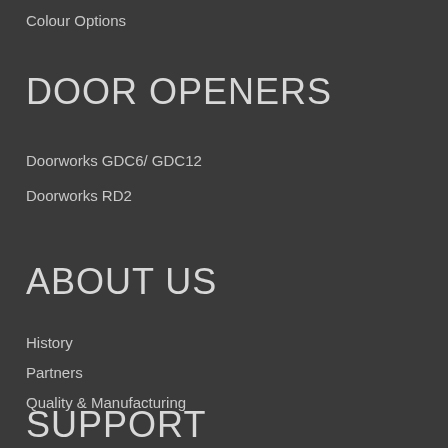Colour Options
DOOR OPENERS
Doorworks GDC6/ GDC12
Doorworks RD2
ABOUT US
History
Partners
Quality & Manufacturing
SUPPORT